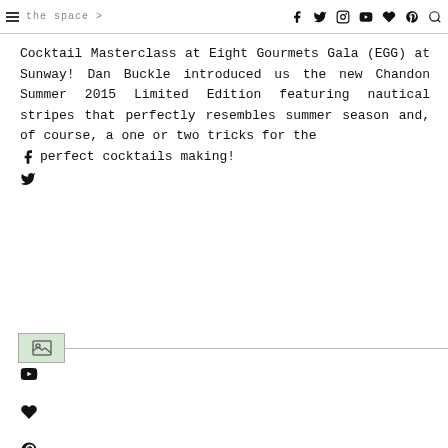navigation bar with hamburger menu and social icons (Facebook, Twitter, Instagram, YouTube, heart, Pinterest, search)
Cocktail Masterclass at Eight Gourmets Gala (EGG) at Sunway! Dan Buckle introduced us the new Chandon Summer 2015 Limited Edition featuring nautical stripes that perfectly resembles summer season and, of course, a one or two tricks for the perfect cocktails making!
[Figure (other): Small thumbnail image placeholder below social share icons]
Social share icons: Facebook, Twitter, Instagram, YouTube, heart (favorites), Pinterest